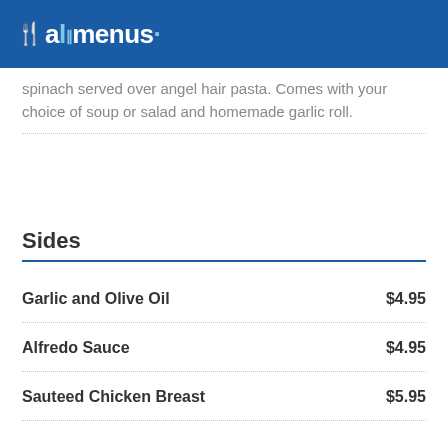allmenus
spinach served over angel hair pasta. Comes with your choice of soup or salad and homemade garlic roll.
Sides
Garlic and Olive Oil  $4.95
Alfredo Sauce  $4.95
Sauteed Chicken Breast  $5.95